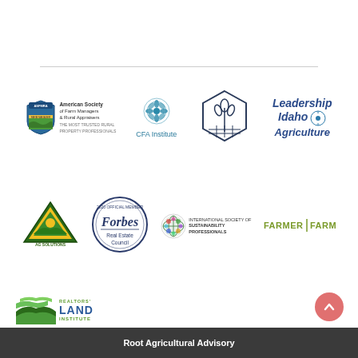[Figure (logo): American Society of Farm Managers & Rural Appraisers logo with shield icon and text]
[Figure (logo): CFA Institute logo with blue snowflake/globe icon and text]
[Figure (logo): Leading Harvest logo with hexagonal plant icon]
[Figure (logo): Leadership Idaho Agriculture logo with blue text and wheat icon]
[Figure (logo): Pro-Soil Ag Solutions logo with triangular green/yellow design]
[Figure (logo): Forbes Real Estate Council official member circular logo]
[Figure (logo): International Society of Sustainability Professionals logo with globe icon]
[Figure (logo): Farmer to Farmer logo in olive/green text]
[Figure (logo): Realtors Land Institute logo with green wave/hills icon]
Root Agricultural Advisory